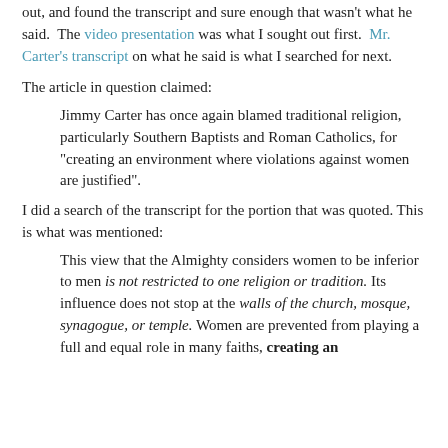out, and found the transcript and sure enough that wasn't what he said. The video presentation was what I sought out first. Mr. Carter's transcript on what he said is what I searched for next.
The article in question claimed:
Jimmy Carter has once again blamed traditional religion, particularly Southern Baptists and Roman Catholics, for "creating an environment where violations against women are justified".
I did a search of the transcript for the portion that was quoted. This is what was mentioned:
This view that the Almighty considers women to be inferior to men is not restricted to one religion or tradition. Its influence does not stop at the walls of the church, mosque, synagogue, or temple. Women are prevented from playing a full and equal role in many faiths, creating an